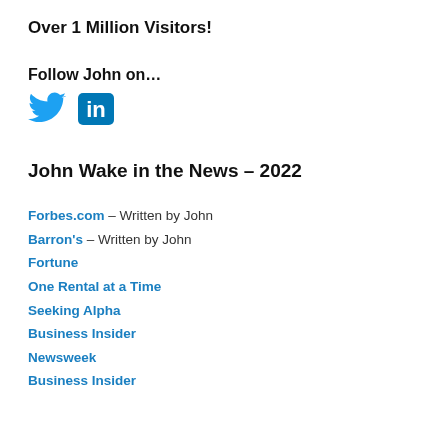Over 1 Million Visitors!
Follow John on…
[Figure (other): Twitter bird icon (blue) and LinkedIn 'in' icon (blue rectangle with white 'in')]
John Wake in the News – 2022
Forbes.com – Written by John
Barron's – Written by John
Fortune
One Rental at a Time
Seeking Alpha
Business Insider
Newsweek
Business Insider